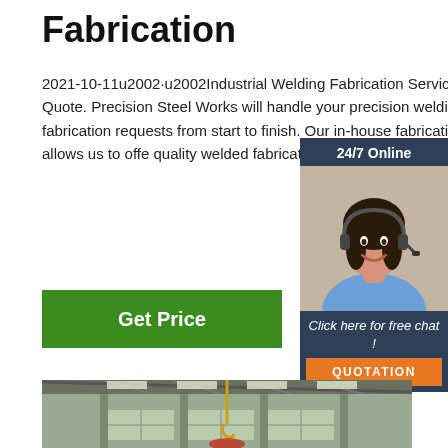Fabrication
2021-10-11u2002·u2002Industrial Welding Fabrication Services Get Quote. Precision Steel Works will handle your precision welding fabrication requests from start to finish. Our in-house fabrication facility allows us to offer quality welded fabrications built to your c and ...
[Figure (other): Green 'Get Price' button]
[Figure (other): Chat widget with '24/7 Online' header, female customer service agent with headset, 'Click here for free chat!' text, and orange QUOTATION button]
[Figure (photo): Interior of a steel industrial warehouse/fabrication facility showing structural steel beams, skylights, windows, and a crane hook]